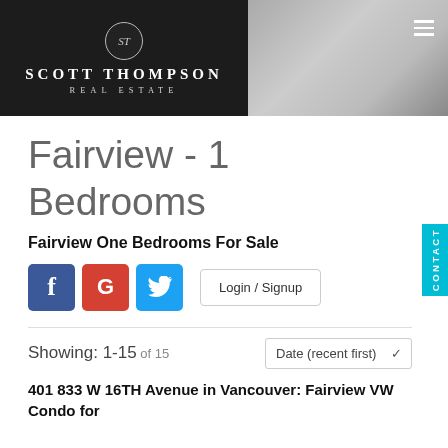[Figure (photo): Scott Thompson Real Estate website header banner with logo on dark background overlay and interior photo of a modern room on the right side. Hamburger menu icon top right.]
Fairview - 1 Bedrooms
Fairview One Bedrooms For Sale
[Figure (infographic): Social login buttons: Facebook (blue), Google (red), Twitter (blue), and a Login / Signup button]
Showing: 1-15 of 15
Date (recent first) dropdown
401 833 W 16TH Avenue in Vancouver: Fairview VW Condo for